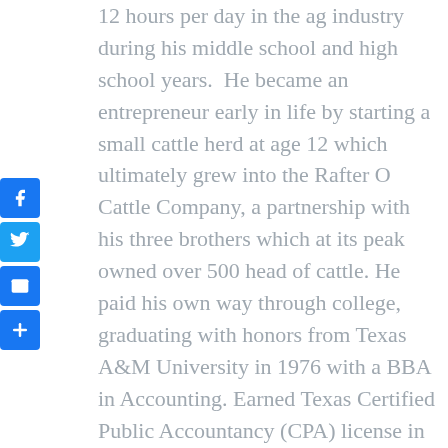12 hours per day in the ag industry during his middle school and high school years.  He became an entrepreneur early in life by starting a small cattle herd at age 12 which ultimately grew into the Rafter O Cattle Company, a partnership with his three brothers which at its peak owned over 500 head of cattle. He paid his own way through college, graduating with honors from Texas A&M University in 1976 with a BBA in Accounting. Earned Texas Certified Public Accountancy (CPA) license in 1978. Married a Stratford girl, Gina Bass, in 1979. Graduated from
[Figure (other): Social media sharing buttons: Facebook (f), Twitter (bird), Email (envelope), Share/plus (+)]